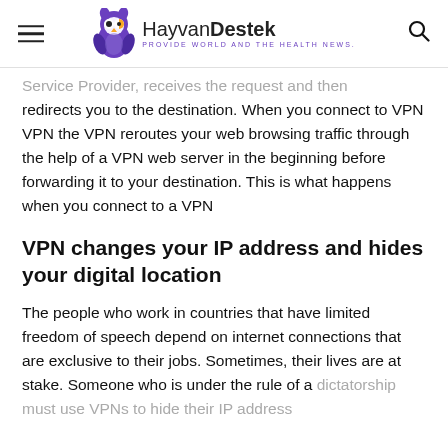HayvanDestek — PROVIDE WORLD AND THE HEALTH NEWS.
Service Provider, receives the request and then redirects you to the destination. When you connect to VPN VPN the VPN reroutes your web browsing traffic through the help of a VPN web server in the beginning before forwarding it to your destination. This is what happens when you connect to a VPN
VPN changes your IP address and hides your digital location
The people who work in countries that have limited freedom of speech depend on internet connections that are exclusive to their jobs. Sometimes, their lives are at stake. Someone who is under the rule of a dictatorship must use VPNs to hide their IP address